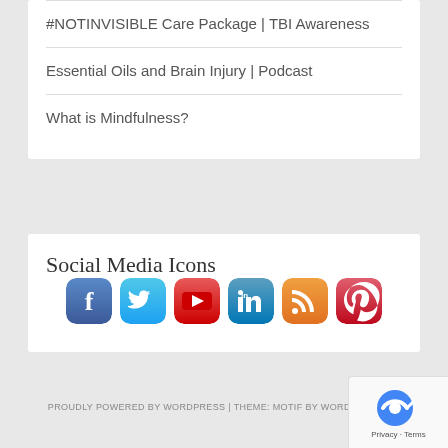#NOTINVISIBLE Care Package | TBI Awareness
Essential Oils and Brain Injury | Podcast
What is Mindfulness?
Social Media Icons
[Figure (infographic): Row of six social media icon buttons: Facebook, Twitter, YouTube, LinkedIn, RSS, Pinterest]
PROUDLY POWERED BY WORDPRESS | THEME: MOTIF BY WORDPRESS.CO